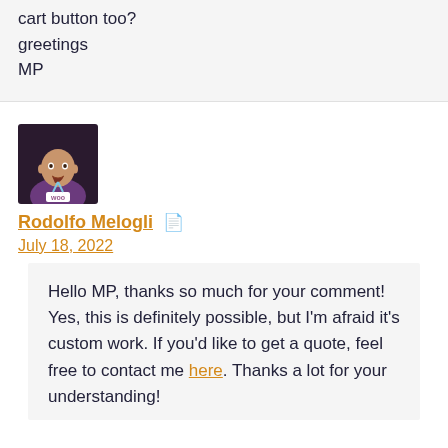cart button too?
greetings
MP
[Figure (photo): Profile photo of Rodolfo Melogli, a bald man wearing a purple shirt with a WooCommerce lanyard badge, speaking or presenting.]
Rodolfo Melogli 🗒
July 18, 2022
Hello MP, thanks so much for your comment! Yes, this is definitely possible, but I'm afraid it's custom work. If you'd like to get a quote, feel free to contact me here. Thanks a lot for your understanding!